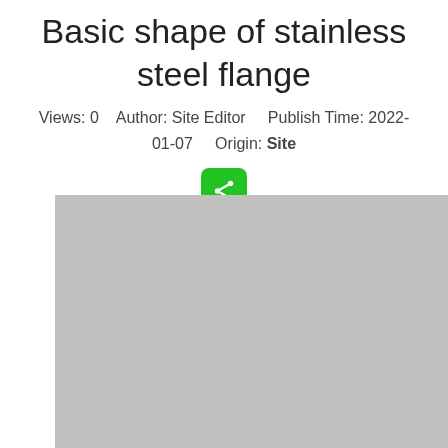Basic shape of stainless steel flange
Views: 0   Author: Site Editor   Publish Time: 2022-01-07   Origin: Site
[Figure (photo): Gray placeholder image of stainless steel flange]